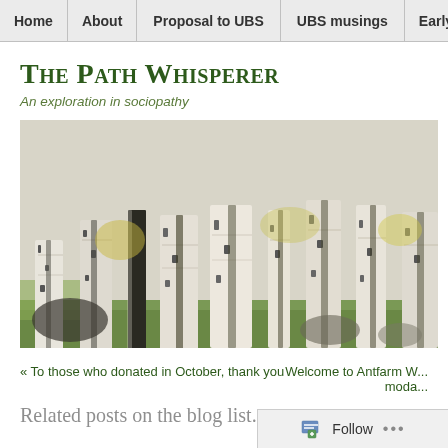Home | About | Proposal to UBS | UBS musings | Early LT
The Path Whisperer
An exploration in sociopathy
[Figure (photo): Birch tree forest with white bark trunks and green foliage, wide banner crop]
« To those who donated in October, thank you
Welcome to Antfarm W... moda...
Related posts or other blog list items (partially visible)